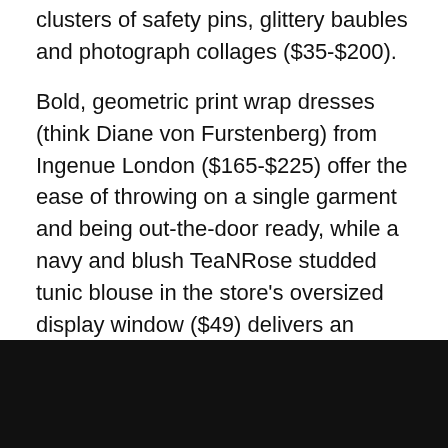clusters of safety pins, glittery baubles and photograph collages ($35-$200).
Bold, geometric print wrap dresses (think Diane von Furstenberg) from Ingenue London ($165-$225) offer the ease of throwing on a single garment and being out-the-door ready, while a navy and blush TeaNRose studded tunic blouse in the store's oversized display window ($49) delivers an edgy, flirty appeal.
Some of van Hauwaert's clients frequent the boutique for her line of couture jackets, which use fabrics she discovers in her travels. Take the eggplant bolero jacket ($425), for example. While at a French antique show, she